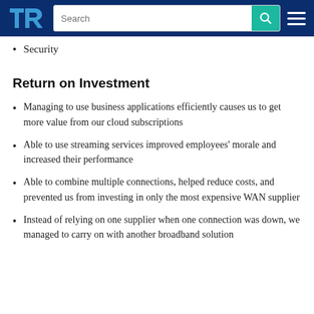TrustRadius navigation bar with logo, search box, and menu
Security
Return on Investment
Managing to use business applications efficiently causes us to get more value from our cloud subscriptions
Able to use streaming services improved employees' morale and increased their performance
Able to combine multiple connections, helped reduce costs, and prevented us from investing in only the most expensive WAN supplier
Instead of relying on one supplier when one connection was down, we managed to carry on with another broadband solution